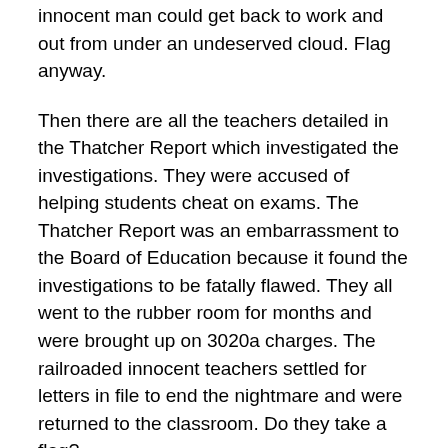innocent man could get back to work and out from under an undeserved cloud. Flag anyway.
Then there are all the teachers detailed in the Thatcher Report which investigated the investigations. They were accused of helping students cheat on exams. The Thatcher Report was an embarrassment to the Board of Education because it found the investigations to be fatally flawed. They all went to the rubber room for months and were brought up on 3020a charges. The railroaded innocent teachers settled for letters in file to end the nightmare and were returned to the classroom. Do they take a flag?
A teacher at Stevenson ran afoul of her assistant principal and after a long, distinguished career inside and outside of the schools was brought up on charges of incompetence. Lacking evidence, the 3020a saved face by fining her and